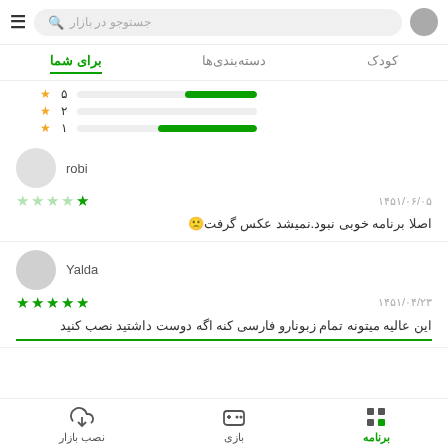جستوجو در بازار
برای شما | دسته‌بندی‌ها | کودک
[Figure (infographic): Rating distribution bar chart with green fill bars for stars 1-5]
robi
۱۴۵۱/۰۶/۰۵ - 1 star rating
اصلا برنامه خوبی نبود.نمیشد عکس گرفت🙁
Yalda
۱۴۵۱/۰۴/۲۳ - 5 star rating
این عالیه میتونه تمام زبونارو فارسی کنه اگه دوست داشتید نصب کنید
بازی | برنامه | نصب بازار